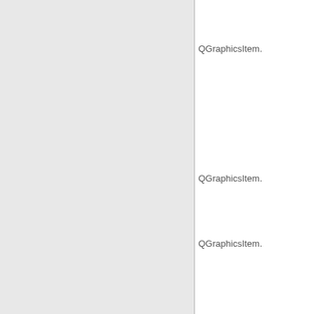QGraphicsItem.
QGraphicsItem.
QGraphicsItem.
QGraphicsItem.